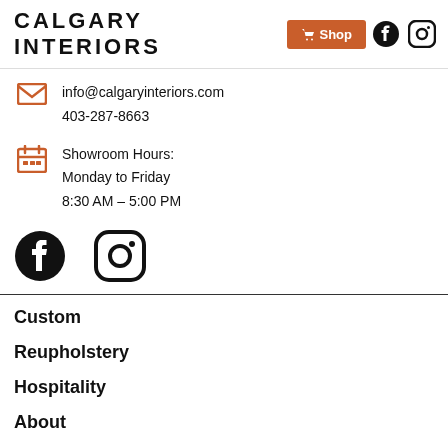CALGARY INTERIORS
info@calgaryinteriors.com
403-287-8663
Showroom Hours:
Monday to Friday
8:30 AM – 5:00 PM
[Figure (logo): Facebook and Instagram social media icons]
Custom
Reupholstery
Hospitality
About